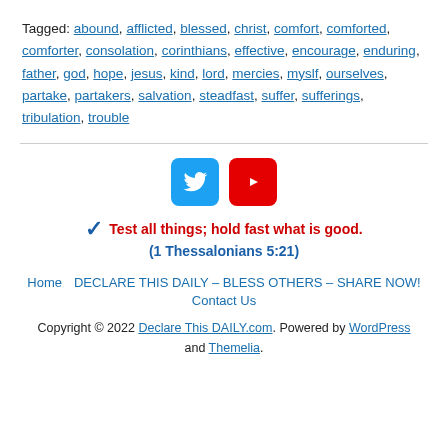Tagged: abound, afflicted, blessed, christ, comfort, comforted, comforter, consolation, corinthians, effective, encourage, enduring, father, god, hope, jesus, kind, lord, mercies, myslf, ourselves, partake, partakers, salvation, steadfast, suffer, sufferings, tribulation, trouble
[Figure (logo): Twitter and YouTube social media icons]
✓ Test all things; hold fast what is good. (1 Thessalonians 5:21)
Home   DECLARE THIS DAILY – BLESS OTHERS – SHARE NOW!   Contact Us
Copyright © 2022 Declare This DAILY.com. Powered by WordPress and Themelia.